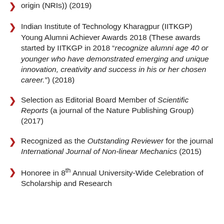origin (NRIs)) (2019)
Indian Institute of Technology Kharagpur (IITKGP) Young Alumni Achiever Awards 2018 (These awards started by IITKGP in 2018 “recognize alumni age 40 or younger who have demonstrated emerging and unique innovation, creativity and success in his or her chosen career.”) (2018)
Selection as Editorial Board Member of Scientific Reports (a journal of the Nature Publishing Group) (2017)
Recognized as the Outstanding Reviewer for the journal International Journal of Non-linear Mechanics (2015)
Honoree in 8th Annual University-Wide Celebration of Scholarship and Research